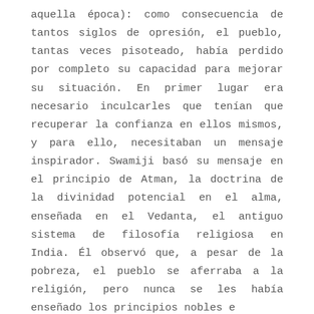aquella época): como consecuencia de tantos siglos de opresión, el pueblo, tantas veces pisoteado, había perdido por completo su capacidad para mejorar su situación. En primer lugar era necesario inculcarles que tenían que recuperar la confianza en ellos mismos, y para ello, necesitaban un mensaje inspirador. Swamiji basó su mensaje en el principio de Atman, la doctrina de la divinidad potencial en el alma, enseñada en el Vedanta, el antiguo sistema de filosofía religiosa en India. Él observó que, a pesar de la pobreza, el pueblo se aferraba a la religión, pero nunca se les había enseñado los principios nobles e